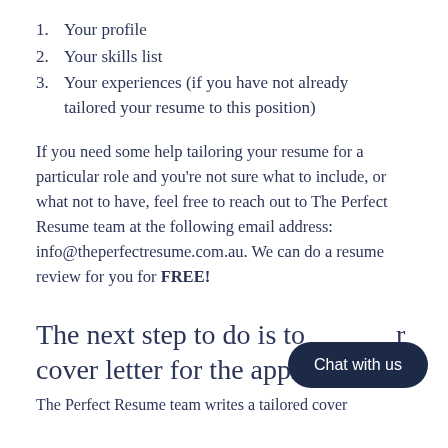1. Your profile
2. Your skills list
3. Your experiences (if you have not already tailored your resume to this position)
If you need some help tailoring your resume for a particular role and you're not sure what to include, or what not to have, feel free to reach out to The Perfect Resume team at the following email address: info@theperfectresume.com.au. We can do a resume review for you for FREE!
The next step to do is to create r cover letter for the appl
The Perfect Resume team writes a tailored cover